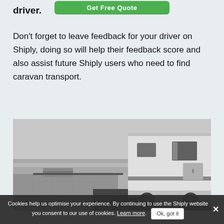driver.
Don't forget to leave feedback for your driver on Shiply, doing so will help their feedback score and also assist future Shiply users who need to find caravan transport.
[Figure (photo): Black and white photo of a white caravan/travel trailer parked near a waterfront/beach area with paved ground]
Cookies help us optimise your experience. By continuing to use the Shiply website you consent to our use of cookies. Learn more. Ok, got it